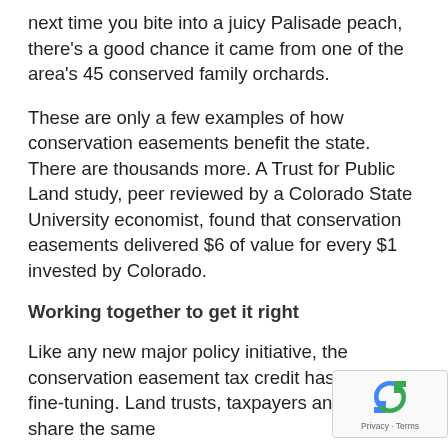next time you bite into a juicy Palisade peach, there's a good chance it came from one of the area's 45 conserved family orchards.
These are only a few examples of how conservation easements benefit the state. There are thousands more. A Trust for Public Land study, peer reviewed by a Colorado State University economist, found that conservation easements delivered $6 of value for every $1 invested by Colorado.
Working together to get it right
Like any new major policy initiative, the conservation easement tax credit has required fine-tuning. Land trusts, taxpayers and the state share the same